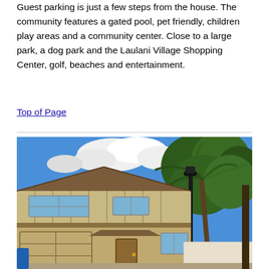Guest parking is just a few steps from the house. The community features a gated pool, pet friendly, children play areas and a community center. Close to a large park, a dog park and the Laulani Village Shopping Center, golf, beaches and entertainment.
Top of Page
[Figure (photo): Exterior photo of a two-story tan/beige residential home with a garage door on the left, covered entryway, multiple windows, and palm trees on the right side. Blue sky with white clouds in the background.]